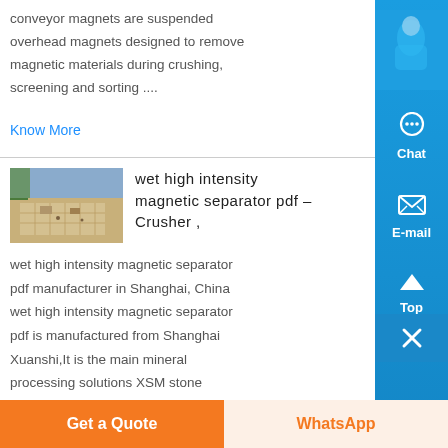conveyor magnets are suspended overhead magnets designed to remove magnetic materials during crushing, screening and sorting ....
Know More
wet high intensity magnetic separator pdf – Crusher ,
[Figure (photo): Aerial/overhead photo of a construction or mining site with cleared land and structures]
wet high intensity magnetic separator pdf manufacturer in Shanghai, China wet high intensity magnetic separator pdf is manufactured from Shanghai Xuanshi,It is the main mineral processing solutions XSM stone